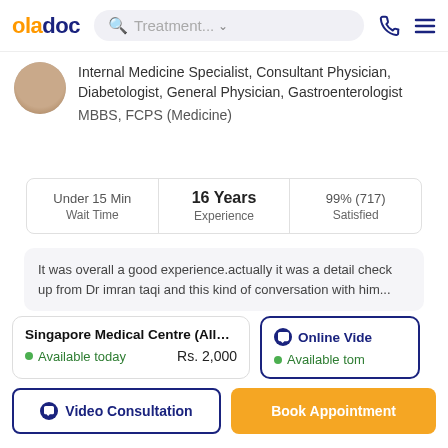oladoc  Treatment...  [search] [phone] [menu]
Internal Medicine Specialist, Consultant Physician, Diabetologist, General Physician, Gastroenterologist
MBBS, FCPS (Medicine)
| Wait Time | Experience | Satisfied |
| --- | --- | --- |
| Under 15 Min | 16 Years | 99% (717) |
It was overall a good experience.actually it was a detail check up from Dr imran taqi and this kind of conversation with him...
Singapore Medical Centre (Allama I...   Available today   Rs. 2,000
Online Vide   Available tom
Video Consultation   Book Appointment